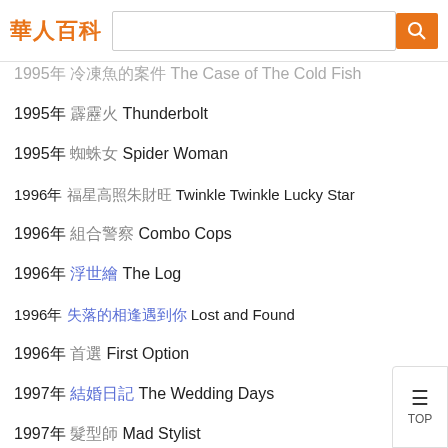華人百科 [search bar]
1995年 冷凍魚的案件 The Case of The Cold Fish
1995年 霹靂火 Thunderbolt
1995年 蜘蛛女 Spider Woman
1996年 福星高照朱財旺 Twinkle Twinkle Lucky Star
1996年 組合警察 Combo Cops
1996年 浮世繪 The Log
1996年 失落的相逢遇到你 Lost and Found
1996年 首選 First Option
1997年 結婚日記 The Wedding Days
1997年 髮型師 Mad Stylist